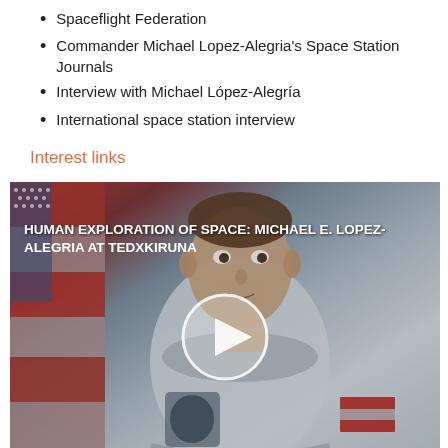Spaceflight Federation
Commander Michael Lopez-Alegria's Space Station Journals
Interview with Michael López-Alegría
International space station interview
Interest links
[Figure (screenshot): Video thumbnail showing an astronaut in a spacesuit with a play button overlay. Title text reads: HUMAN EXPLORATION OF SPACE: MICHAEL E. LOPEZ-ALEGRIA AT TEDXKIRUNA]